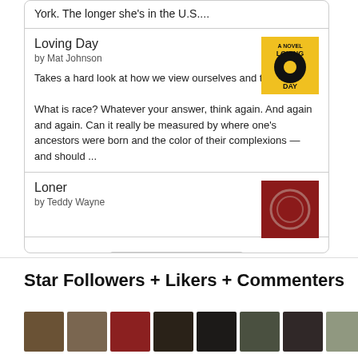York. The longer she's in the U.S....
Loving Day
by Mat Johnson
Takes a hard look at how we view ourselves and the world.
What is race? Whatever your answer, think again. And again and again. Can it really be measured by where one's ancestors were born and the color of their complexions — and should ...
[Figure (illustration): Book cover for Loving Day — yellow background with black circular graphic and 'LOVING DAY' text]
Loner
by Teddy Wayne
[Figure (illustration): Book cover for Loner — dark red background with circular ring shape]
[Figure (logo): Goodreads button/logo with text 'goodreads']
Star Followers + Likers + Commenters
[Figure (photo): Row of profile photo thumbnails of followers/likers/commenters]